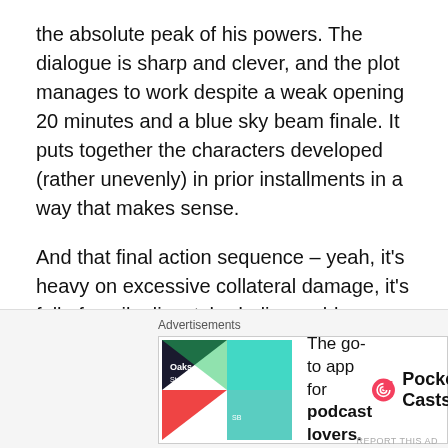the absolute peak of his powers. The dialogue is sharp and clever, and the plot manages to work despite a weak opening 20 minutes and a blue sky beam finale. It puts together the characters developed (rather unevenly) in prior installments in a way that makes sense.
And that final action sequence – yeah, it's heavy on excessive collateral damage, it's full of easily dispatched, disposable infantry, and again, it ends in a blue sky beam… but great dialogue, solid directing, and well-developed characters enable it all to work.
The Avengers could easily have been a mess, but instead, it's one of the best superhero films ever made.
[Figure (other): Advertisement banner for Pocket Casts podcast app with logo and text 'The go-to app for podcast lovers.']